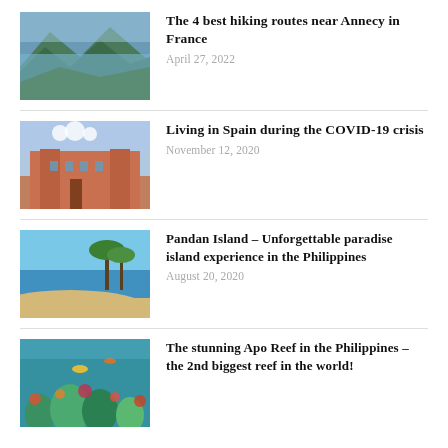[Figure (photo): Aerial view of a mountain lake near Annecy, France with forested slopes]
The 4 best hiking routes near Annecy in France
April 27, 2022
[Figure (photo): Historic Spanish plaza with ornate baroque building facade]
Living in Spain during the COVID-19 crisis
November 12, 2020
[Figure (photo): Tropical beach with clear blue water and palm trees on Pandan Island, Philippines]
Pandan Island – Unforgettable paradise island experience in the Philippines
August 20, 2020
[Figure (photo): Underwater coral reef scene at Apo Reef, Philippines]
The stunning Apo Reef in the Philippines – the 2nd biggest reef in the world!